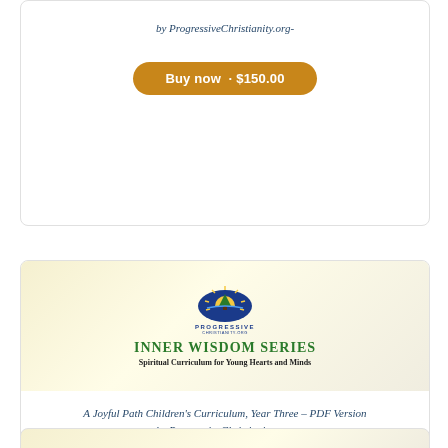by ProgressiveChristianity.org-
Buy now · $150.00
[Figure (illustration): Book cover for Inner Wisdom Series - Spiritual Curriculum for Young Hearts and Minds, featuring Progressive Christianity logo]
A Joyful Path Children's Curriculum, Year Three – PDF Version by ProgressiveChristianity.org-
Buy now · $125.00